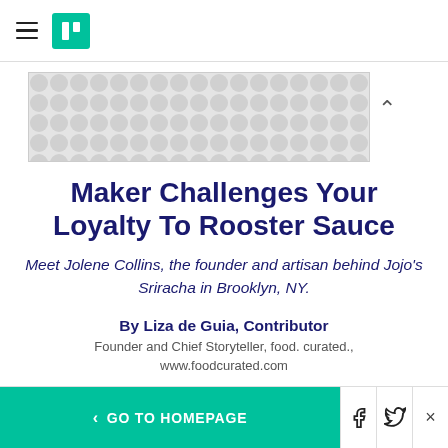HuffPost navigation
[Figure (other): Advertisement banner with grey dot/bubble pattern]
Maker Challenges Your Loyalty To Rooster Sauce
Meet Jolene Collins, the founder and artisan behind Jojo's Sriracha in Brooklyn, NY.
By Liza de Guia, Contributor
Founder and Chief Storyteller, food. curated., www.foodcurated.com
Nov 12, 2012, 10:37 AM EST | Updated Dec 6, 2017
< GO TO HOMEPAGE  [Facebook] [Twitter] [X]